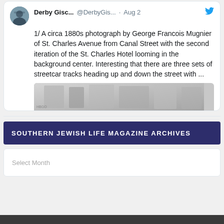[Figure (screenshot): A Twitter/X post by Derby Gisc... (@DerbyGis...) dated Aug 2, with text about a circa 1880s photograph by George Francois Mugnier of St. Charles Avenue from Canal Street, and a partially visible historical photo at the bottom.]
SOUTHERN JEWISH LIFE MAGAZINE ARCHIVES
Select Month